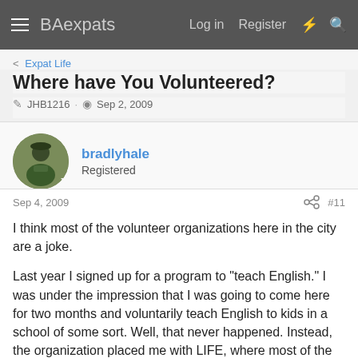BAexpats  Log in  Register
Expat Life
Where have You Volunteered?
JHB1216 · Sep 2, 2009
bradlyhale
Registered
Sep 4, 2009  #11
I think most of the volunteer organizations here in the city are a joke.

Last year I signed up for a program to "teach English." I was under the impression that I was going to come here for two months and voluntarily teach English to kids in a school of some sort. Well, that never happened. Instead, the organization placed me with LIFE, where most of the volunteers are nothing but glorified babysitters.